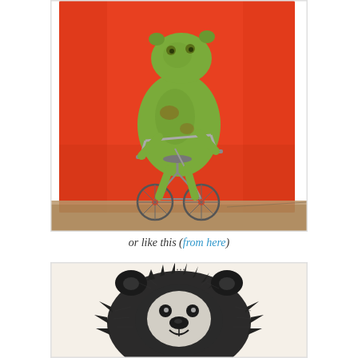[Figure (illustration): Watercolor illustration of a green bear or frog-like creature riding a bicycle against an orange/red background with a brown ground, rendered in a whimsical children's book style]
or like this (from here)
[Figure (illustration): Black and white ink illustration of a bear's face/head, rendered with detailed crosshatching and expressive marks on a cream/off-white background, viewed from the front]